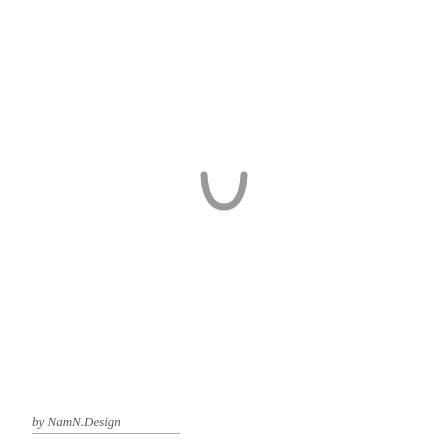[Figure (other): A loading spinner icon — a horseshoe/U-shape in gray, centered on the page, representing a loading indicator]
by NamN.Design